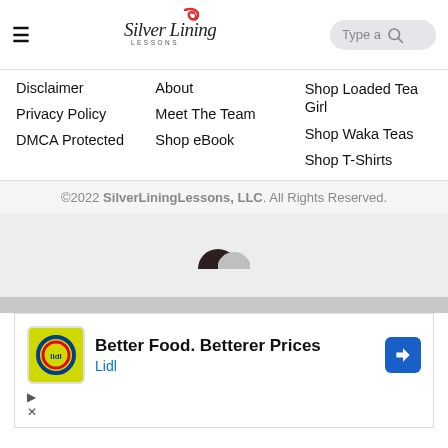Silver Lining Lessons — navigation header with hamburger menu, logo, and search box
Disclaimer
About
Shop Loaded Tea Girl
Privacy Policy
Meet The Team
Shop Waka Teas
DMCA Protected
Shop eBook
Shop T-Shirts
©2022 SilverLiningLessons, LLC. All Rights Reserved.
[Figure (other): Loading spinner / avatar icon, dark semicircle on light gray background]
[Figure (other): Lidl advertisement: Better Food. Betterer Prices — Lidl, with Lidl logo and navigation arrow icon]